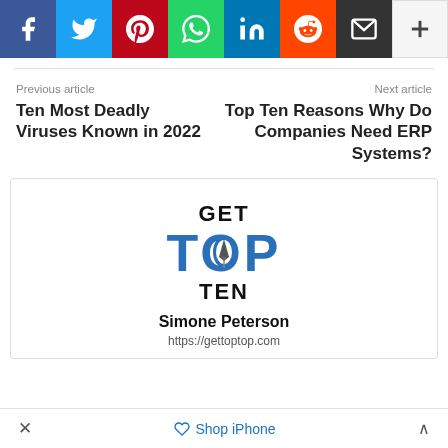[Figure (other): Social media share buttons row: Facebook (blue), Twitter (cyan), Pinterest (red), WhatsApp (green), LinkedIn (blue), Reddit (orange), Email (black), More (white/gray plus)]
Previous article
Ten Most Deadly Viruses Known in 2022
Next article
Top Ten Reasons Why Do Companies Need ERP Systems?
[Figure (logo): Get Top Ten logo: GET in black, TOP in large blue bold, TEN in black bold, with a fountain pen nib icon inside the O of TOP]
Simone Peterson
https://gettoptop.com
✕   Shop iPhone   ∧